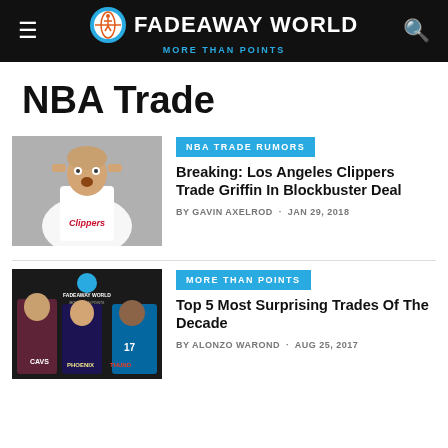FADEAWAY WORLD — MORE THAN POINTS
NBA Trade
[Figure (photo): Blake Griffin in a Clippers jersey, hands on head, shocked expression]
NBA TRADE RUMORS
Breaking: Los Angeles Clippers Trade Griffin In Blockbuster Deal
BY GAVIN AXELROD · JAN 29, 2018
[Figure (photo): Multiple NBA players including Cavaliers, Suns, and Thunder players collaged with Fadeaway World logo]
MORE THAN POINTS
Top 5 Most Surprising Trades Of The Decade
BY ALONZO WAROND · AUG 25, 2017